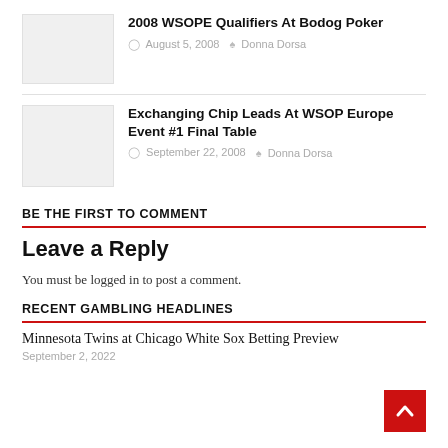2008 WSOPE Qualifiers At Bodog Poker
August 5, 2008  Donna Dorsa
Exchanging Chip Leads At WSOP Europe Event #1 Final Table
September 22, 2008  Donna Dorsa
BE THE FIRST TO COMMENT
Leave a Reply
You must be logged in to post a comment.
RECENT GAMBLING HEADLINES
Minnesota Twins at Chicago White Sox Betting Preview
September 2, 2022